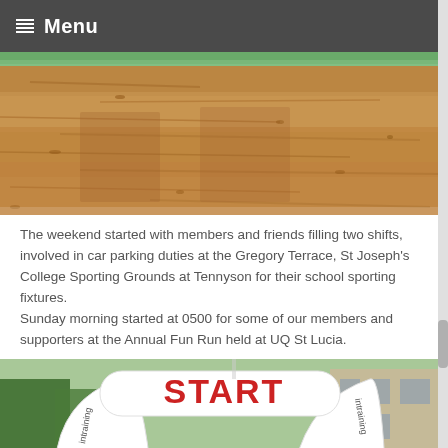Menu
[Figure (photo): Close-up photo of dirt/soil ground with some grass visible at the top edge, showing tire tracks and rough terrain texture.]
The weekend started with members and friends filling two shifts, involved in car parking duties at the Gregory Terrace, St Joseph's College Sporting Grounds at Tennyson for their school sporting fixtures.
Sunday morning started at 0500 for some of our members and supporters at the Annual Fun Run held at UQ St Lucia.
[Figure (photo): Photo of a white inflatable START arch with red letters reading START, branded with 'intraining' logos on the sides, with trees and a building visible in the background.]